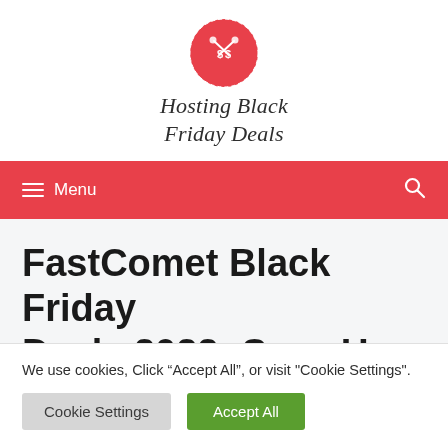[Figure (logo): Hosting Black Friday Deals logo with scissors and dollar sign circle icon above cursive text]
Menu
FastComet Black Friday Deals 2022: Save Up To
We use cookies, Click “Accept All”, or visit "Cookie Settings".
Cookie Settings   Accept All